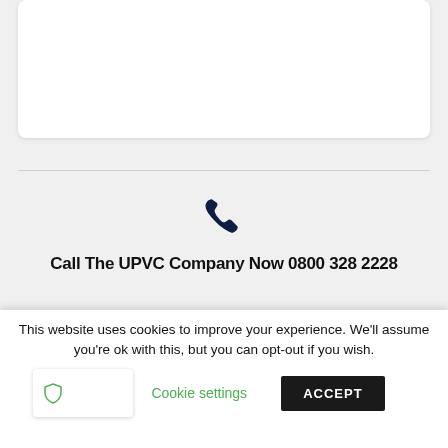[Figure (illustration): White card area at top of page (form or content card)]
[Figure (illustration): Phone handset icon in dark navy blue]
Call The UPVC Company Now 0800 328 2228
[Figure (logo): The UPVC Company logo — white text on dark navy background, reading THE UPVC COMPANY]
This website uses cookies to improve your experience. We'll assume you're ok with this, but you can opt-out if you wish.